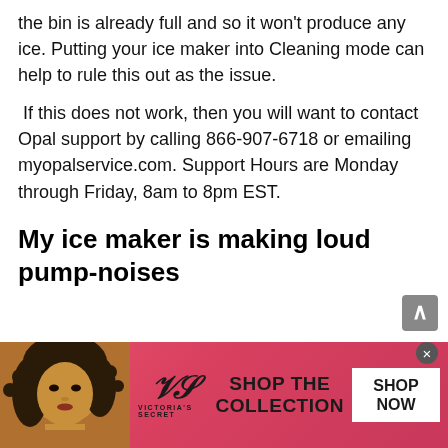the bin is already full and so it won't produce any ice. Putting your ice maker into Cleaning mode can help to rule this out as the issue.
If this does not work, then you will want to contact Opal support by calling 866-907-6718 or emailing myopalservice.com. Support Hours are Monday through Friday, 8am to 8pm EST.
My ice maker is making loud pump-noises
[Figure (photo): Victoria's Secret advertisement banner with a woman model, VS logo, 'SHOP THE COLLECTION' text, and 'SHOP NOW' button]